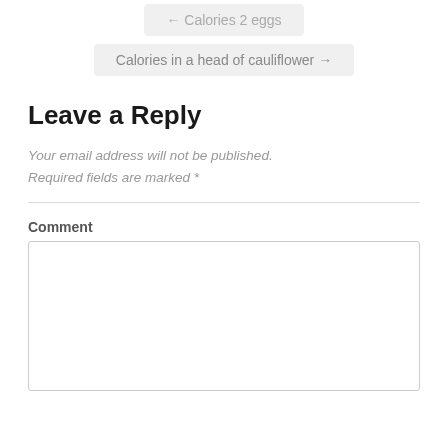← Calories 2 eggs
Calories in a head of cauliflower →
Leave a Reply
Your email address will not be published. Required fields are marked *
Comment